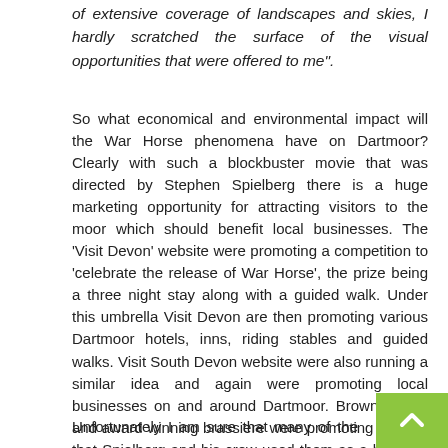of extensive coverage of landscapes and skies, I hardly scratched the surface of the visual opportunities that were offered to me".
So what economical and environmental impact will the War Horse phenomena have on Dartmoor? Clearly with such a blockbuster movie that was directed by Stephen Spielberg there is a huge marketing opportunity for attracting visitors to the moor which should benefit local businesses. The 'Visit Devon' website were promoting a competition to 'celebrate the release of War Horse', the prize being a three night stay along with a guided walk. Under this umbrella Visit Devon are then promoting various Dartmoor hotels, inns, riding stables and guided walks. Visit South Devon website were also running a similar idea and again were promoting local businesses on and around Dartmoor. Brown's hotel and award winning brassiere were promoting the fact that Spielberg and his crew used them as a base for filming. The Dartmoor.co.uk websiteweare working in conjunction with 'Visit Devon' as far as the competition goes and also offer a location 'walk'. And so the list goes on with numerous holiday cottages, hotels, pubs etc driving the publicity machine.
Unfortunately I am sure that many of the gift shops will be piled